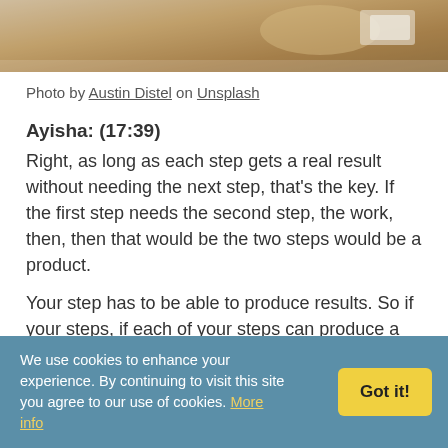[Figure (photo): Partial photo of a person working at a desk, cropped at the top of the page]
Photo by Austin Distel on Unsplash
Ayisha: (17:39)
Right, as long as each step gets a real result without needing the next step, that's the key. If the first step needs the second step, the work, then, then that would be the two steps would be a product.
Your step has to be able to produce results. So if your steps, if each of your steps can produce a result, then you can make individual products out of those. You can write a book and each step could be a chapter in
We use cookies to enhance your experience. By continuing to visit this site you agree to our use of cookies. More info